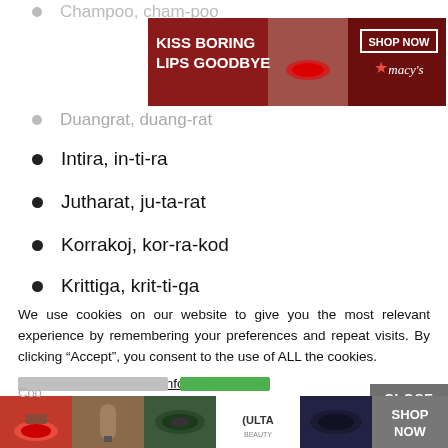Champoo, cham-poo
[Figure (photo): Macy's advertisement banner: 'KISS BORING LIPS GOODBYE' with red lips model image and 'SHOP NOW' button with Macy's star logo]
Duangrat, duang-rat
Intira, in-ti-ra
Jutharat, ju-ta-rat
Korrakoj, kor-ra-kod
Krittiga, krit-ti-ga
Nattaporn, nat-ta-porn
Nuntida, nun-ti-da
Orapan, or-ra-pun
We use cookies on our website to give you the most relevant experience by remembering your preferences and repeat visits. By clicking “Accept”, you consent to the use of ALL the cookies.
Do not sell my personal information.
[Figure (photo): ULTA beauty advertisement strip at bottom with close button, showing makeup/beauty images and 'SHOP NOW' text]